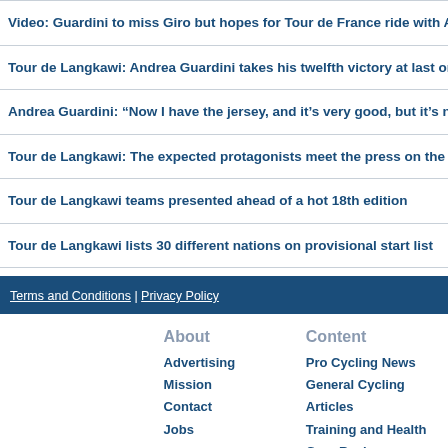Video: Guardini to miss Giro but hopes for Tour de France ride with Astana
Tour de Langkawi: Andrea Guardini takes his twelfth victory at last on short
Andrea Guardini: “Now I have the jersey, and it’s very good, but it’s not enou
Tour de Langkawi: The expected protagonists meet the press on the eve of the
Tour de Langkawi teams presented ahead of a hot 18th edition
Tour de Langkawi lists 30 different nations on provisional start list
Terms and Conditions | Privacy Policy
About
Advertising
Mission
Contact
Jobs
Content
Pro Cycling News
General Cycling Articles
Training and Health
Gear Reviews